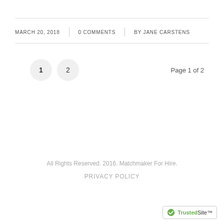MARCH 20, 2018 | 0 COMMENTS | BY JANE CARSTENS
1  2  Page 1 of 2
All Rights Reserved. 2016. Matchmaker For Hire.
PRIVACY POLICY